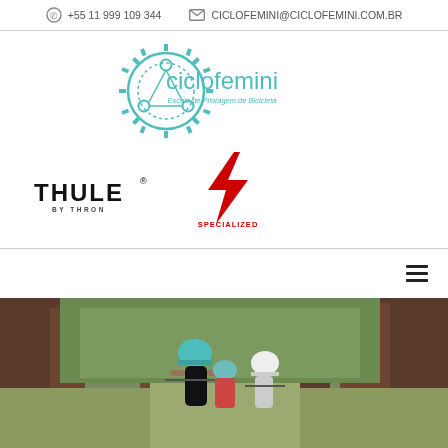+55 11 999 109 344   CICLOFEMINI@CICLOFEMINI.COM.BR
[Figure (logo): Ciclofemini logo with gear/chain ring icon and text 'ciclofemini Escola de Pilotagem de Bicicleta' in teal/turquoise color]
[Figure (logo): Thule brand logo in bold black uppercase text with registered trademark symbol and small tagline]
[Figure (logo): Specialized bicycle brand logo — red stylized 'S' lightning bolt with 'SPECIALIZED' text below in red]
[Figure (photo): Outdoor photo showing women riding bicycles through a forested path with tall trees, wearing helmets]